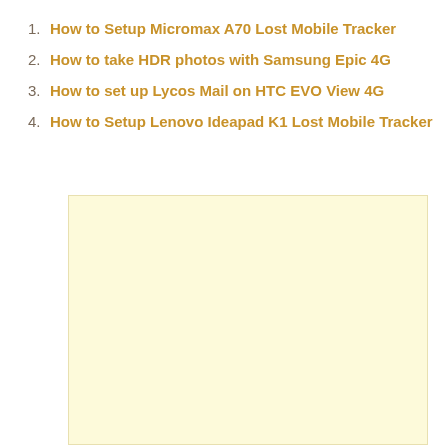1. How to Setup Micromax A70 Lost Mobile Tracker
2. How to take HDR photos with Samsung Epic 4G
3. How to set up Lycos Mail on HTC EVO View 4G
4. How to Setup Lenovo Ideapad K1 Lost Mobile Tracker
[Figure (other): Light yellow advertisement placeholder box]